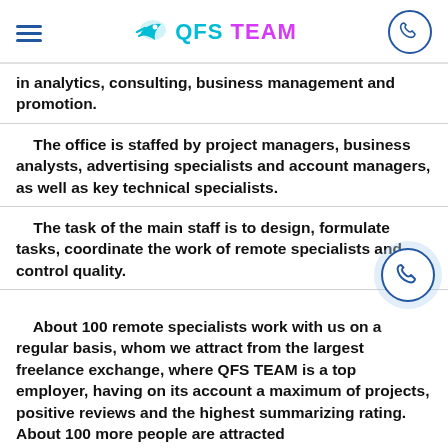QFS TEAM
in analytics, consulting, business management and promotion.
The office is staffed by project managers, business analysts, advertising specialists and account managers, as well as key technical specialists.
The task of the main staff is to design, formulate tasks, coordinate the work of remote specialists and control quality.
About 100 remote specialists work with us on a regular basis, whom we attract from the largest freelance exchange, where QFS TEAM is a top employer, having on its account a maximum of projects, positive reviews and the highest summarizing rating. About 100 more people are attracted...